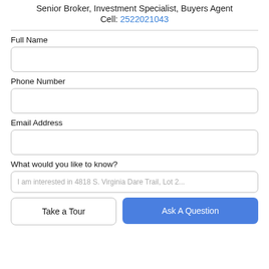Senior Broker, Investment Specialist, Buyers Agent
Cell: 2522021043
Full Name
Phone Number
Email Address
What would you like to know?
I am interested in 4818 S. Virginia Dare Trail, Lot 2...
Take a Tour
Ask A Question